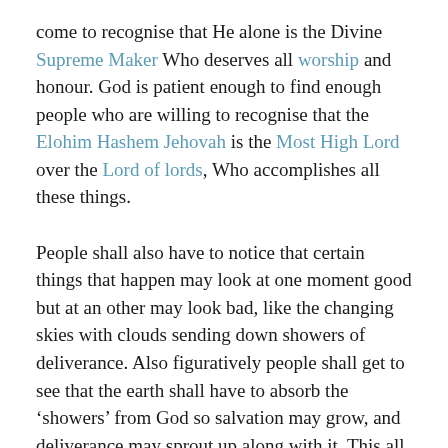come to recognise that He alone is the Divine Supreme Maker Who deserves all worship and honour. God is patient enough to find enough people who are willing to recognise that the Elohim Hashem Jehovah is the Most High Lord over the Lord of lords, Who accomplishes all these things.
People shall also have to notice that certain things that happen may look at one moment good but at an other may look bad, like the changing skies with clouds sending down showers of deliverance. Also figuratively people shall get to see that the earth shall have to absorb the ‘showers’ from God so salvation may grow, and deliverance may sprout up along with it. This all in the knowledge that it is the Divine Supreme Being Who creates it.